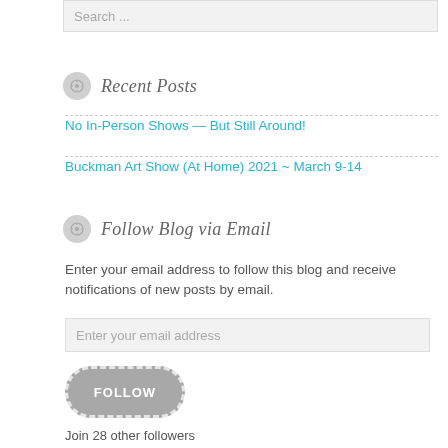Search ...
Recent Posts
No In-Person Shows — But Still Around!
Buckman Art Show (At Home) 2021 ~ March 9-14
Follow Blog via Email
Enter your email address to follow this blog and receive notifications of new posts by email.
Enter your email address
FOLLOW
Join 28 other followers